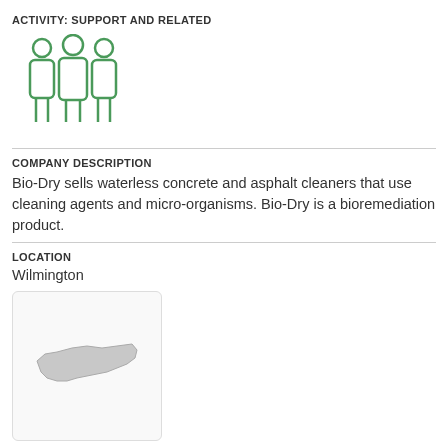ACTIVITY: SUPPORT AND RELATED
[Figure (illustration): Green outline icon of three people standing side by side]
COMPANY DESCRIPTION
Bio-Dry sells waterless concrete and asphalt cleaners that use cleaning agents and micro-organisms. Bio-Dry is a bioremediation product.
LOCATION
Wilmington
[Figure (map): Small map thumbnail showing North Carolina state outline]
COMPANY
BioNetwork Asheville